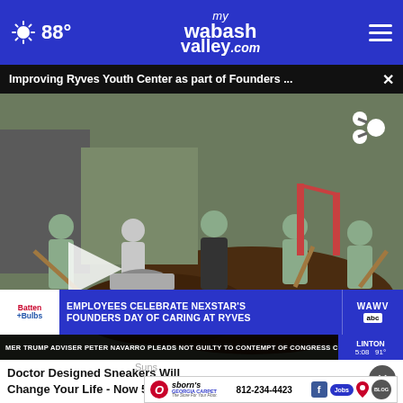88° myWabashValley.com
Improving Ryves Youth Center as part of Founders ...
[Figure (screenshot): Video screenshot showing volunteers working at Ryves Youth Center, shoveling mulch with wheelbarrows and shovels in an outdoor playground area. Lower-third chyron reads: EMPLOYEES CELEBRATE NEXSTAR'S FOUNDERS DAY OF CARING AT RYVES. Station logo: WAWV ABC. Ticker: MER TRUMP ADVISER PETER NAVARRO PLEADS NOT GUILTY TO CONTEMPT OF CONGRESS CHARGES. Location: LINTON 5:08 91°]
Doctor Designed Sneakers Will Change Your Life - Now 50% off
Suns
[Figure (other): Advertisement banner for Osborn's Georgia Carpet. Phone: 812-234-4423. Icons: Facebook, Jobs button, location pin, Blog circle icon. Tagline: The Store For Your Floor.]